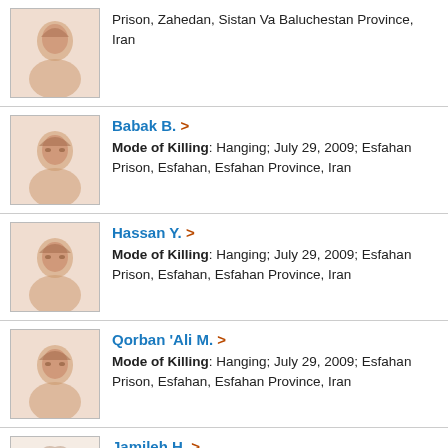Prison, Zahedan, Sistan Va Baluchestan Province, Iran
Babak B. > Mode of Killing: Hanging; July 29, 2009; Esfahan Prison, Esfahan, Esfahan Province, Iran
Hassan Y. > Mode of Killing: Hanging; July 29, 2009; Esfahan Prison, Esfahan, Esfahan Province, Iran
Qorban 'Ali M. > Mode of Killing: Hanging; July 29, 2009; Esfahan Prison, Esfahan, Esfahan Province, Iran
Jamileh H. > Mode of Killing: Hanging; July 29, 2009; Central Prison (Adelabad), Shiraz, Fars Province, Iran